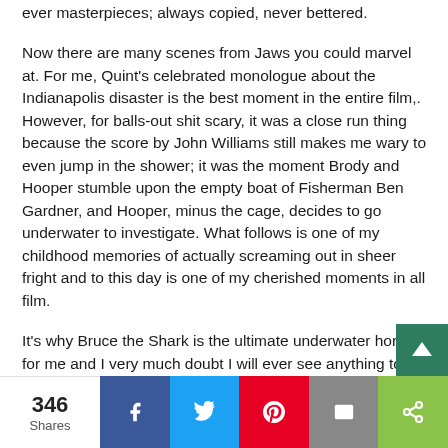ever masterpieces; always copied, never bettered.
Now there are many scenes from Jaws you could marvel at. For me, Quint's celebrated monologue about the Indianapolis disaster is the best moment in the entire film,. However, for balls-out shit scary, it was a close run thing because the score by John Williams still makes me wary to even jump in the shower; it was the moment Brody and Hooper stumble upon the empty boat of Fisherman Ben Gardner, and Hooper, minus the cage, decides to go underwater to investigate. What follows is one of my childhood memories of actually screaming out in sheer fright and to this day is one of my cherished moments in all film.
It's why Bruce the Shark is the ultimate underwater horror for me and I very much doubt I will ever see anything to
346 Shares  [Facebook] [Twitter] [Pinterest] [Email] [Share]